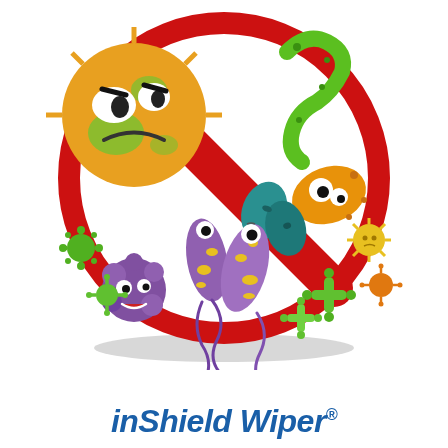[Figure (illustration): Cartoon illustration of colorful cartoon germs, bacteria, and microbes trapped inside a red prohibition/no sign (circle with diagonal bar). Germs include: a large angry yellow-green virus ball, green worm-like bacteria, an orange blob creature with eyes, teal oval bacteria, purple flagellate bacteria with spots, a small purple lumpy germ, small green cross-shaped bacteria, small yellow round germs, and green spiky coronavirus-style microbes. The red no-entry sign has a thick red circle with a diagonal red bar across it. A grey shadow ellipse sits beneath the sign.]
inShield Wiper®